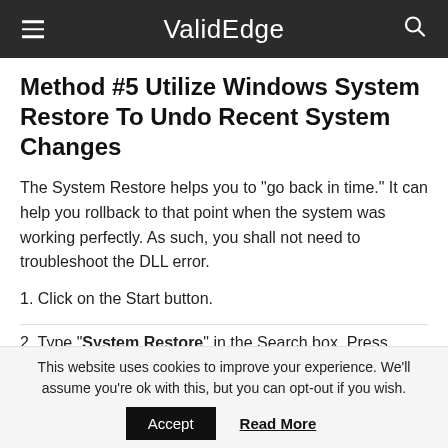ValidEdge
Method #5 Utilize Windows System Restore To Undo Recent System Changes
The System Restore helps you to “go back in time.” It can help you rollback to that point when the system was working perfectly. As such, you shall not need to troubleshoot the DLL error.
1. Click on the Start button.
2. Type “System Restore” in the Search box. Press Enter.
This website uses cookies to improve your experience. We’ll assume you’re ok with this, but you can opt-out if you wish.